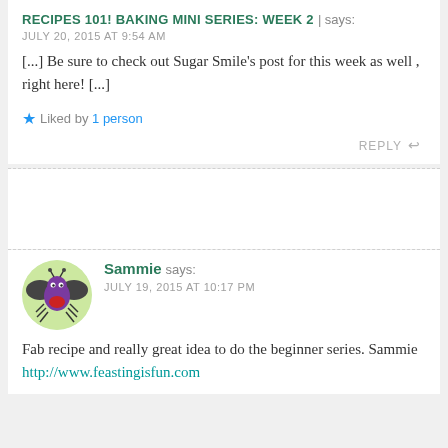RECIPES 101! BAKING MINI SERIES: WEEK 2 | says:
JULY 20, 2015 AT 9:54 AM
[...] Be sure to check out Sugar Smile's post for this week as well , right here! [...]
Liked by 1 person
REPLY
Sammie says:
JULY 19, 2015 AT 10:17 PM
Fab recipe and really great idea to do the beginner series. Sammie http://www.feastingisfun.com